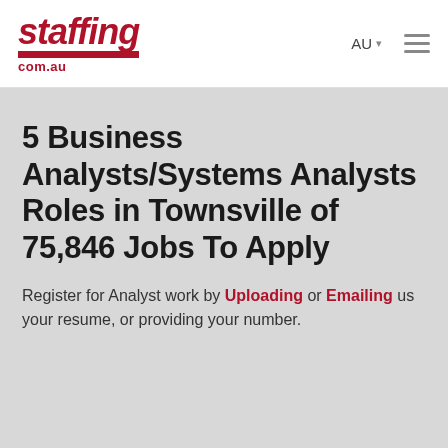[Figure (logo): staffing.com.au logo in dark red/crimson italic bold font with a red underline bar and '.com.au' text below]
AU ☰
5 Business Analysts/Systems Analysts Roles in Townsville of 75,846 Jobs To Apply
Register for Analyst work by Uploading or Emailing us your resume, or providing your number.